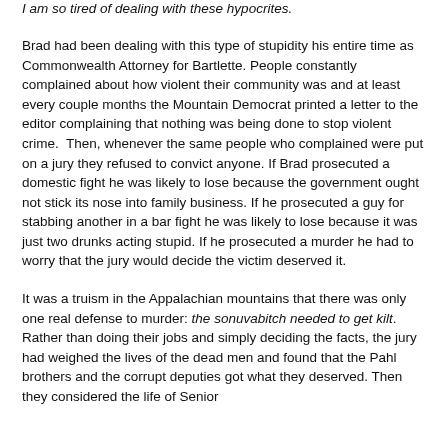I am so tired of dealing with these hypocrites.
Brad had been dealing with this type of stupidity his entire time as Commonwealth Attorney for Bartlette. People constantly complained about how violent their community was and at least every couple months the Mountain Democrat printed a letter to the editor complaining that nothing was being done to stop violent crime.  Then, whenever the same people who complained were put on a jury they refused to convict anyone. If Brad prosecuted a domestic fight he was likely to lose because the government ought not stick its nose into family business. If he prosecuted a guy for stabbing another in a bar fight he was likely to lose because it was just two drunks acting stupid. If he prosecuted a murder he had to worry that the jury would decide the victim deserved it.
It was a truism in the Appalachian mountains that there was only one real defense to murder: the sonuvabitch needed to get kilt. Rather than doing their jobs and simply deciding the facts, the jury had weighed the lives of the dead men and found that the Pahl brothers and the corrupt deputies got what they deserved. Then they considered the life of Senior...